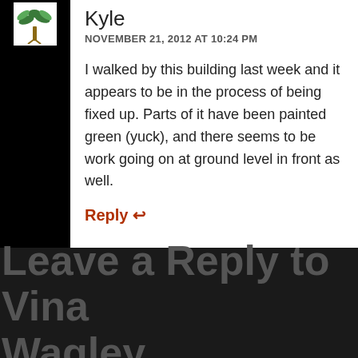[Figure (illustration): Small avatar/icon showing a cartoon palm tree illustration on white background]
Kyle
NOVEMBER 21, 2012 AT 10:24 PM
I walked by this building last week and it appears to be in the process of being fixed up. Parts of it have been painted green (yuck), and there seems to be work going on at ground level in front as well.
Reply ↩
Leave a Reply to Vina Wagley